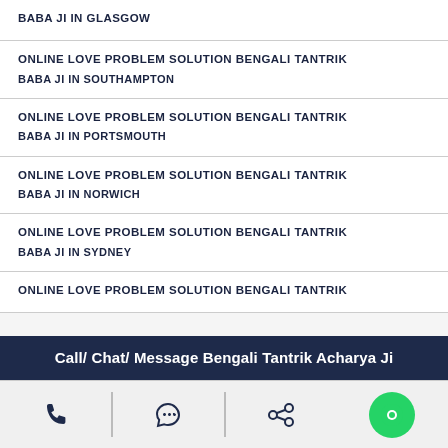BABA JI IN GLASGOW
ONLINE LOVE PROBLEM SOLUTION BENGALI TANTRIK
BABA JI IN SOUTHAMPTON
ONLINE LOVE PROBLEM SOLUTION BENGALI TANTRIK
BABA JI IN PORTSMOUTH
ONLINE LOVE PROBLEM SOLUTION BENGALI TANTRIK
BABA JI IN NORWICH
ONLINE LOVE PROBLEM SOLUTION BENGALI TANTRIK
BABA JI IN SYDNEY
ONLINE LOVE PROBLEM SOLUTION BENGALI TANTRIK
Call/ Chat/ Message Bengali Tantrik Acharya Ji